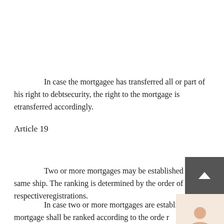In case the mortgagee has transferred all or part of his right to debtsecurity, the right to the mortgage is etransferred accordingly.
Article 19
Two or more mortgages may be established on the same ship. The ranking is determined by the order of their respectiveregistrations.
In case two or more mortgages are established, the mortgagees shall be ranked according to the order of registration of their respective mortgages. The mortgages registered on th